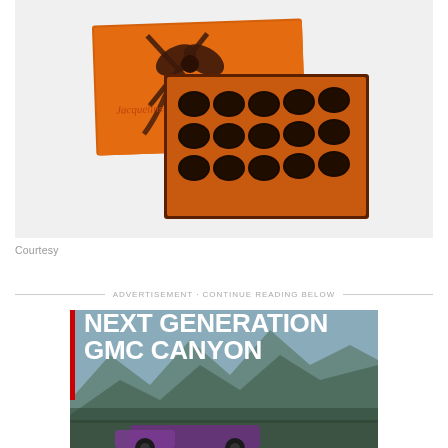[Figure (photo): Orange gift box of dark chocolates with brown ribbon bow, lid open showing two rows of dark chocolate pieces arranged in a grid on orange interior. Logo visible on box front.]
Courtesy
ADVERTISEMENT · CONTINUE READING BELOW
[Figure (photo): Advertisement banner for Next Generation GMC Canyon showing white bold text on a landscape background with mountains and a truck partially visible at the bottom.]